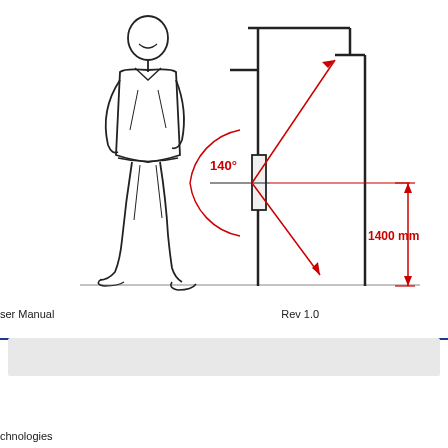[Figure (engineering-diagram): Technical diagram showing a person walking toward a sensor/detector mounted on a post. Red lines indicate a 140-degree detection angle. A dimension line in red shows 1400 mm height of the device mounted on a wall/column structure.]
ser Manual   Rev 1.0
chnologies